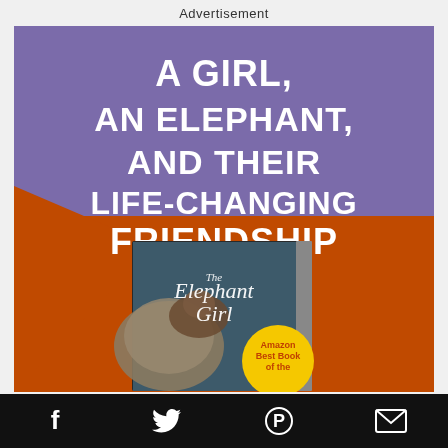Advertisement
[Figure (illustration): Book advertisement for 'The Elephant Girl'. Purple and orange background with large white bold text reading 'A GIRL, AN ELEPHANT, AND THEIR LIFE-CHANGING FRIENDSHIP'. A book cover for 'The Elephant Girl' is shown with an image of a girl and elephant, and a yellow circle badge reading 'Amazon Best Book of the'. Social sharing icons (Facebook, Twitter, Pinterest, Email) appear in a black bar at the bottom.]